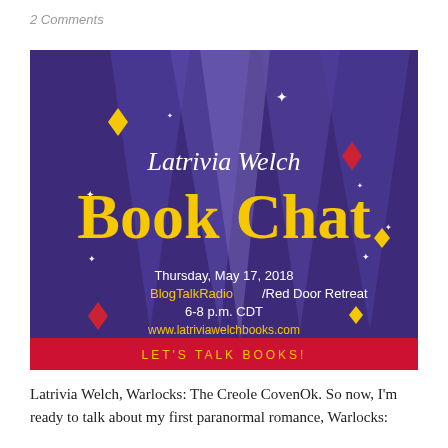2 Comments
[Figure (illustration): Promotional banner for Latrivia Welch Book Chat event. Purple background with spotlight rays, decorative stars and diamond shapes in yellow, white, and red. Cursive text 'Latrivia Welch' at top, large bold yellow text 'Book Chat', details: Thursday, May 17, 2018, BlogTalkRadio/Red Door Retreat, 6-8 p.m. CDT, www.latriviawelchbooks.com. Red banner at bottom reads 'LET'S TALK BOOKS!']
Latrivia Welch, Warlocks: The Creole CovenOk. So now, I'm ready to talk about my first paranormal romance, Warlocks: